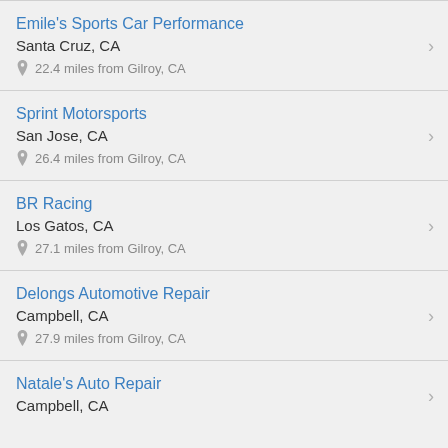Emile's Sports Car Performance
Santa Cruz, CA
22.4 miles from Gilroy, CA
Sprint Motorsports
San Jose, CA
26.4 miles from Gilroy, CA
BR Racing
Los Gatos, CA
27.1 miles from Gilroy, CA
Delongs Automotive Repair
Campbell, CA
27.9 miles from Gilroy, CA
Natale's Auto Repair
Campbell, CA